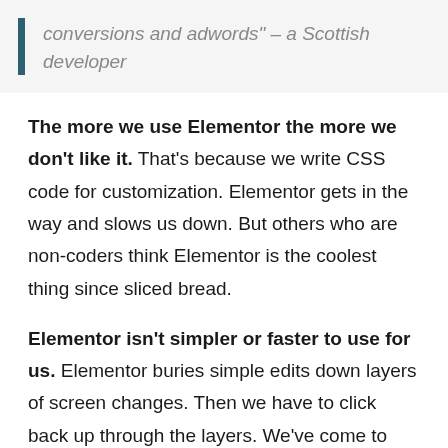conversions and adwords" – a Scottish developer
The more we use Elementor the more we don't like it. That's because we write CSS code for customization. Elementor gets in the way and slows us down. But others who are non-coders think Elementor is the coolest thing since sliced bread.
Elementor isn't simpler or faster to use for us. Elementor buries simple edits down layers of screen changes. Then we have to click back up through the layers. We've come to hate the process.